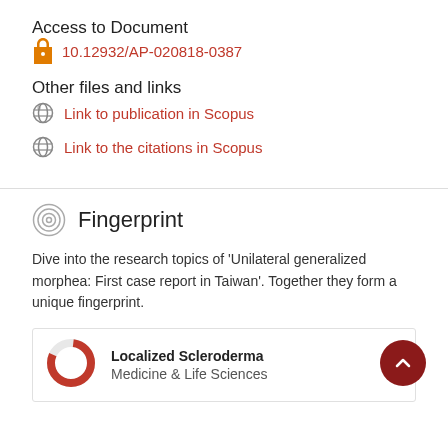Access to Document
10.12932/AP-020818-0387
Other files and links
Link to publication in Scopus
Link to the citations in Scopus
Fingerprint
Dive into the research topics of 'Unilateral generalized morphea: First case report in Taiwan'. Together they form a unique fingerprint.
Localized Scleroderma
Medicine & Life Sciences